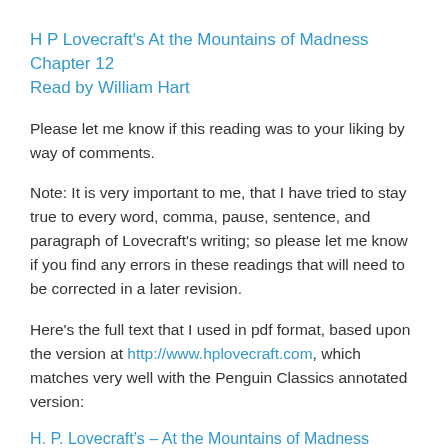H P Lovecraft's At the Mountains of Madness Chapter 12 Read by William Hart
Please let me know if this reading was to your liking by way of comments.
Note: It is very important to me, that I have tried to stay true to every word, comma, pause, sentence, and paragraph of Lovecraft's writing; so please let me know if you find any errors in these readings that will need to be corrected in a later revision.
Here's the full text that I used in pdf format, based upon the version at http://www.hplovecraft.com, which matches very well with the Penguin Classics annotated version:
H. P. Lovecraft's – At the Mountains of Madness